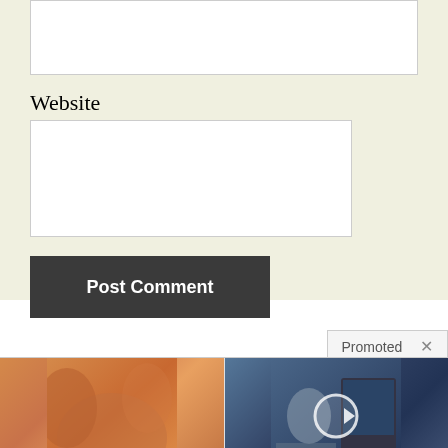Website
Post Comment
Promoted
[Figure (photo): Close-up photo of a person's torso/belly area showing body fat, used in diet/weight loss advertisement]
A Teaspoon On An Empty Stomach Burns Fat Like Crazy!
7,110
[Figure (photo): Photo of a doctor/medical professional at a computer screen discussing medical imaging, with a video play button overlay]
The Hospital That Cured DIABETES in 71,512 people
5,335